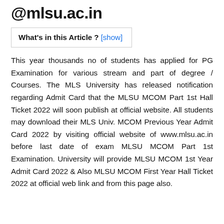@mlsu.ac.in
What's in this Article ? [show]
This year thousands no of students has applied for PG Examination for various stream and part of degree / Courses. The MLS University has released notification regarding Admit Card that the MLSU MCOM Part 1st Hall Ticket 2022 will soon publish at official website. All students may download their MLS Univ. MCOM Previous Year Admit Card 2022 by visiting official website of www.mlsu.ac.in before last date of exam MLSU MCOM Part 1st Examination. University will provide MLSU MCOM 1st Year Admit Card 2022 & Also MLSU MCOM First Year Hall Ticket 2022 at official web link and from this page also.